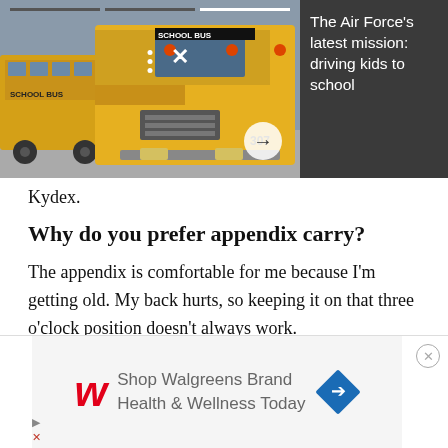[Figure (photo): Yellow school buses parked or driving, with video overlay controls (dots, X, navigation arrow). News article thumbnail.]
The Air Force's latest mission: driving kids to school
Kydex.
Why do you prefer appendix carry?
The appendix is comfortable for me because I'm getting old. My back hurts, so keeping it on that three o'clock position doesn't always work.
[Figure (screenshot): Walgreens advertisement: 'Shop Walgreens Brand Health & Wellness Today' with Walgreens W logo and blue navigation diamond icon.]